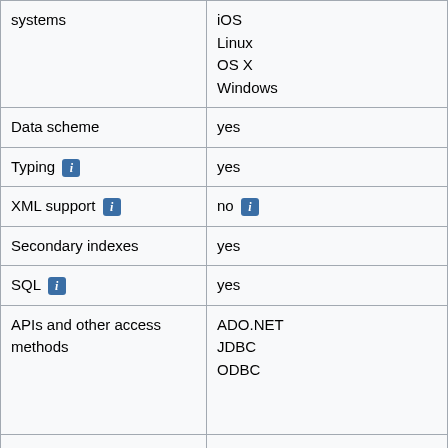| systems | iOS
Linux
OS X
Windows |
| Data scheme | yes |
| Typing [i] | yes |
| XML support [i] | no [i] |
| Secondary indexes | yes |
| SQL [i] | yes |
| APIs and other access methods | ADO.NET
JDBC
ODBC |
| Supported | .Net |